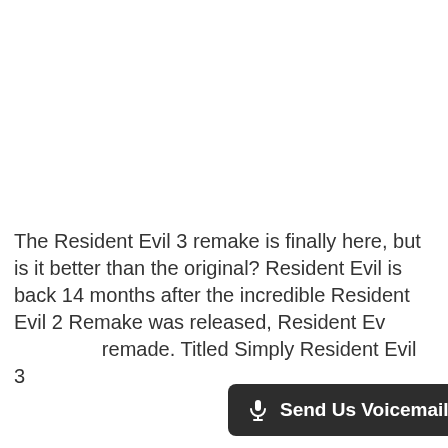The Resident Evil 3 remake is finally here, but is it better than the original? Resident Evil is back 14 months after the incredible Resident Evil 2 Remake was released, Resident Ev… remade. Titled Simply Resident Evil 3
[Figure (other): Send Us Voicemail button overlay in dark background with microphone icon]